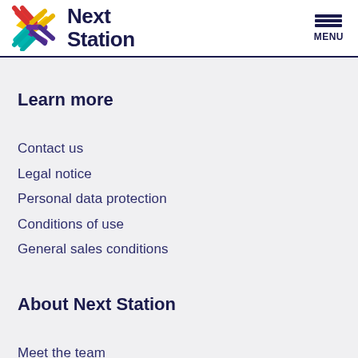Next Station
Learn more
Contact us
Legal notice
Personal data protection
Conditions of use
General sales conditions
About Next Station
Meet the team
Join the fam